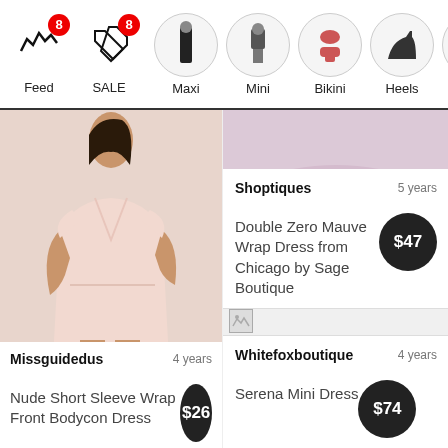Feed | SALE 8 | Maxi | Mini | Bikini | Heels | Bags
[Figure (photo): Woman wearing nude pink short sleeve wrap front bodycon dress]
Missguidedus   4 years
Nude Short Sleeve Wrap Front Bodycon Dress   $26
[Figure (photo): Lower body of woman wearing mauve purple wrap dress]
Shoptiques   5 years
Double Zero Mauve Wrap Dress from Chicago by Sage Boutique   $47
[Figure (photo): Broken image placeholder]
Whitefoxboutique   4 years
Serena Mini Dress   $74